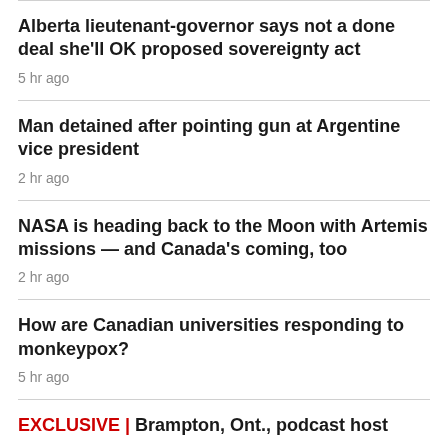Alberta lieutenant-governor says not a done deal she'll OK proposed sovereignty act
5 hr ago
Man detained after pointing gun at Argentine vice president
2 hr ago
NASA is heading back to the Moon with Artemis missions — and Canada's coming, too
2 hr ago
How are Canadian universities responding to monkeypox?
5 hr ago
EXCLUSIVE | Brampton, Ont., podcast host